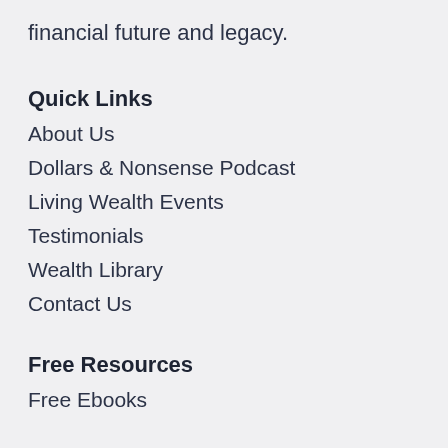financial future and legacy.
Quick Links
About Us
Dollars & Nonsense Podcast
Living Wealth Events
Testimonials
Wealth Library
Contact Us
Free Resources
Free Ebooks